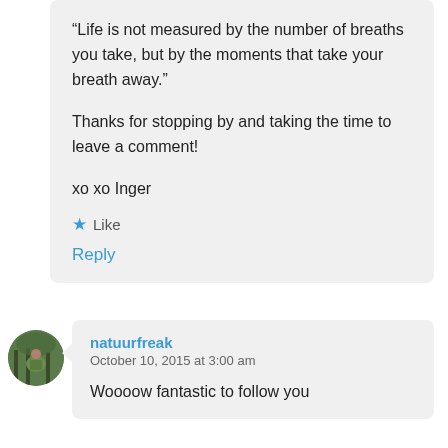“Life is not measured by the number of breaths you take, but by the moments that take your breath away.”
Thanks for stopping by and taking the time to leave a comment!
xo xo Inger
★ Like
Reply
[Figure (photo): Round avatar photo of natuurfreak, showing a person in a green jacket in a forest setting]
natuurfreak
October 10, 2015 at 3:00 am
Woooow fantastic to follow you